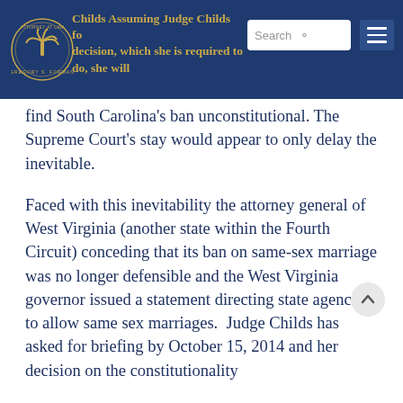Childs Assuming Judge Childs follows Supreme Court's decision, which she is required to do, she will
find South Carolina's ban unconstitutional. The Supreme Court's stay would appear to only delay the inevitable.
Faced with this inevitability the attorney general of West Virginia (another state within the Fourth Circuit) conceding that its ban on same-sex marriage was no longer defensible and the West Virginia governor issued a statement directing state agencies to allow same sex marriages. Judge Childs has asked for briefing by October 15, 2014 and her decision on the constitutionality of